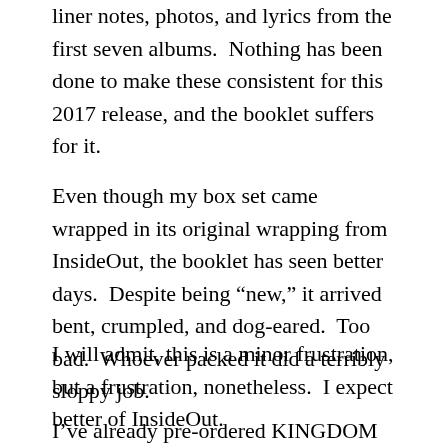liner notes, photos, and lyrics from the first seven albums.  Nothing has been done to make these consistent for this 2017 release, and the booklet suffers for it.
Even though my box set came wrapped in its original wrapping from InsideOut, the booklet has seen better days.  Despite being “new,” it arrived bent, crumpled, and dog-eared.  Too bad.  Whoever packed it did a terribly sloppy job.
I will admit, this is a minor frustration, but a frustration, nonetheless.  I expect better of InsideOut.
I’ve already pre-ordered KINGDOM OF COLOURS 2, but I very much hope the band and label put a bit more